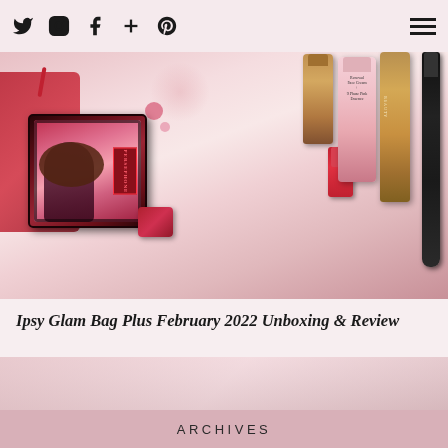Social media icons: Twitter, Instagram, Facebook, Google+, Pinterest; Hamburger menu
[Figure (photo): Flat lay photo of beauty products including a decorative makeup palette with ornate art nouveau woman illustration, red cosmetic bag, pink face cream bottle, gold and pink bottles, mascara/eyeliner pencil, and a red lipstick or compact, arranged on a white surface with pink shadows]
Ipsy Glam Bag Plus February 2022 Unboxing & Review
[Figure (photo): Partial second photo showing a light pink/blush background, likely another product unboxing or beauty flat lay]
ARCHIVES